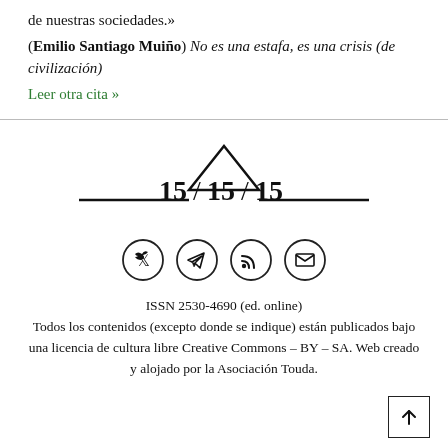de nuestras sociedades.»
(Emilio Santiago Muiño) No es una estafa, es una crisis (de civilización)
Leer otra cita »
[Figure (logo): 15/15/15 publication logo with triangle above the numbers and horizontal lines on either side]
[Figure (infographic): Four social media icon circles: Twitter/X, Telegram, RSS feed, Email]
ISSN 2530-4690 (ed. online)
Todos los contenidos (excepto donde se indique) están publicados bajo una licencia de cultura libre Creative Commons – BY – SA. Web creado y alojado por la Asociación Touda.